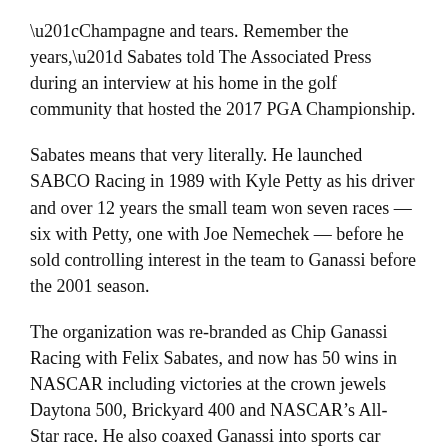“Champagne and tears. Remember the years,” Sabates told The Associated Press during an interview at his home in the golf community that hosted the 2017 PGA Championship.
Sabates means that very literally. He launched SABCO Racing in 1989 with Kyle Petty as his driver and over 12 years the small team won seven races — six with Petty, one with Joe Nemechek — before he sold controlling interest in the team to Ganassi before the 2001 season.
The organization was re-branded as Chip Ganassi Racing with Felix Sabates, and now has 50 wins in NASCAR including victories at the crown jewels Daytona 500, Brickyard 400 and NASCAR’s All-Star race. He also coaxed Ganassi into sports car racing with backing from Mexican billionaire Carlos Slim and the IMSA teams won 64 races — eight in the Rolex 24 at Daytona — seven series championships